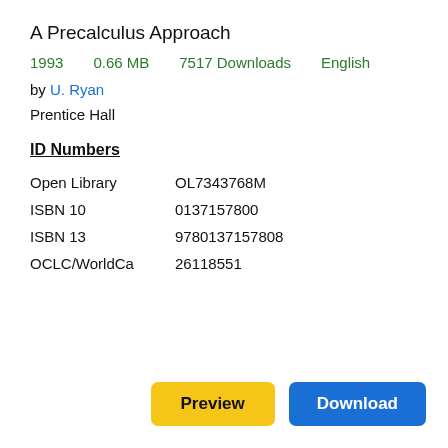A Precalculus Approach
1993   0.66 MB   7517 Downloads   English
by U. Ryan
Prentice Hall
ID Numbers
| Open Library | OL7343768M |
| ISBN 10 | 0137157800 |
| ISBN 13 | 9780137157808 |
| OCLC/WorldCa | 26118551 |